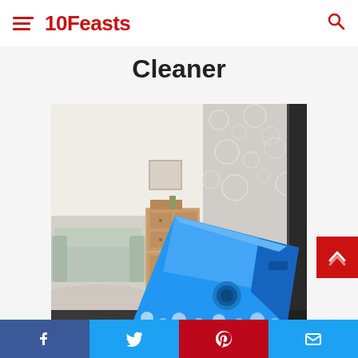10Feasts
Cleaner
[Figure (photo): A blue magnetic double-sided window cleaner tool shown on a glass window frame, with a living room reflection visible on the clean side and soap suds on the other side.]
Facebook Twitter Pinterest Email